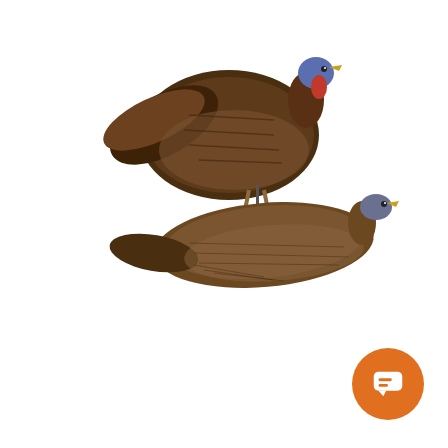[Figure (photo): Two turkey decoys on a white background. The upper turkey is a large tom (male) with dark brown feathers, a red and blue head, displayed upright on a stick mount. The lower turkey is a hen (female) lying in a feeding/submissive pose with muted brown feathers.]
[Figure (screenshot): A live chat popup card with an orange top border. Shows a DSD badge logo, sender name 'DSD', and the message 'If you have any questions about our turkey decoys, we're here to help!' with a blurred bottom line of text. The watermark word 'BREEDING' appears faintly in the background.]
[Figure (illustration): An orange circular chat button in the bottom-right corner with a white speech/chat bubble icon inside.]